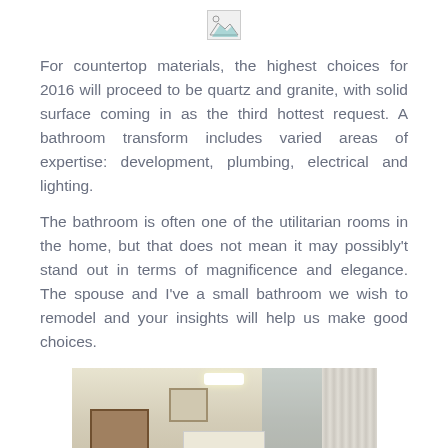[Figure (other): Broken/missing image placeholder icon at top of page]
For countertop materials, the highest choices for 2016 will proceed to be quartz and granite, with solid surface coming in as the third hottest request. A bathroom transform includes varied areas of expertise: development, plumbing, electrical and lighting.
The bathroom is often one of the utilitarian rooms in the home, but that does not mean it may possibly't stand out in terms of magnificence and elegance. The spouse and I've a small bathroom we wish to remodel and your insights will help us make good choices.
[Figure (photo): Interior photo of a small bathroom showing a white cabinet with glass panes, decorative items on top, blue-tinted wall on the right, white curtain on the far right, a doorway on the left, and ceiling light fixture.]